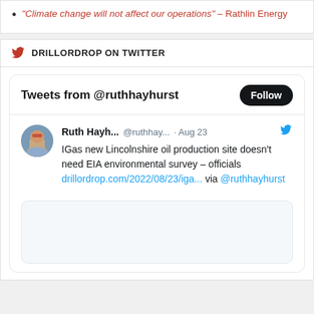"Climate change will not affect our operations" – Rathlin Energy
DRILLORDROP ON TWITTER
[Figure (screenshot): Embedded Twitter widget showing tweets from @ruthhayhurst with a Follow button, a tweet by Ruth Hayh... @ruthhay... Aug 23 reading: IGas new Lincolnshire oil production site doesn't need EIA environmental survey – officials drillordrop.com/2022/08/23/iga... via @ruthhayhurst, with a partially visible image card below.]